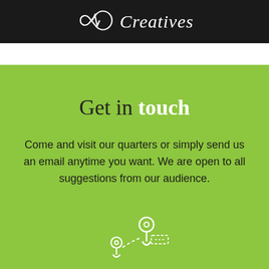[Figure (logo): AWO Creatives logo with white script lettering and waveform/infinity symbol on black background]
Get in touch
Come and visit our quarters or simply send us an email anytime you want. We are open to all suggestions from our audience.
[Figure (illustration): White outline map/location pin icons on green background]